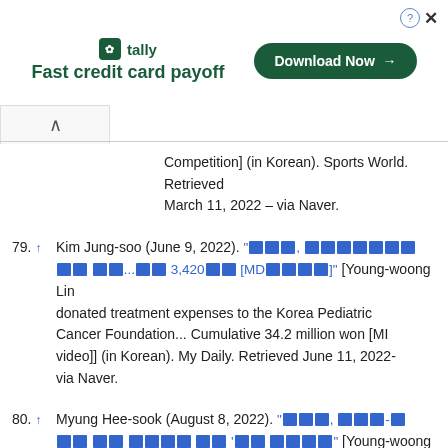[Figure (other): Tally app advertisement banner: 'Fast credit card payoff' with Download Now button]
Competition] (in Korean). Sports World. Retrieved March 11, 2022 – via Naver.
79. ↑ Kim Jung-soo (June 9, 2022). "[Korean text] [Young-woong Lim donated treatment expenses to the Korea Pediatric Cancer Foundation... Cumulative 34.2 million won [MD video]] (in Korean). My Daily. Retrieved June 11, 2022 – via Naver.
80. ↑ Myung Hee-sook (August 8, 2022). "[Korean text] [Young-woong Lim, 'good influence' for steady donations for children with